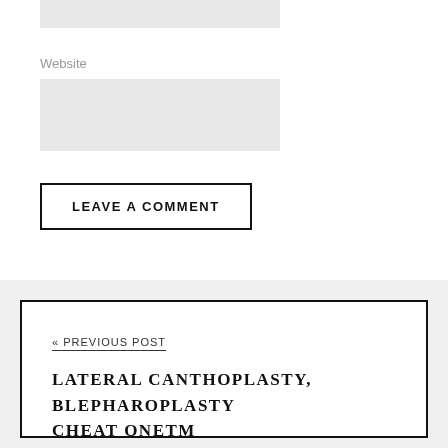[Figure (screenshot): Gray input box at the top of a web comment form]
Website
[Figure (screenshot): Gray textarea input box for website field]
LEAVE A COMMENT
« PREVIOUS POST
LATERAL CANTHOPLASTY, BLEPHAROPLASTY CHEAT ONETM